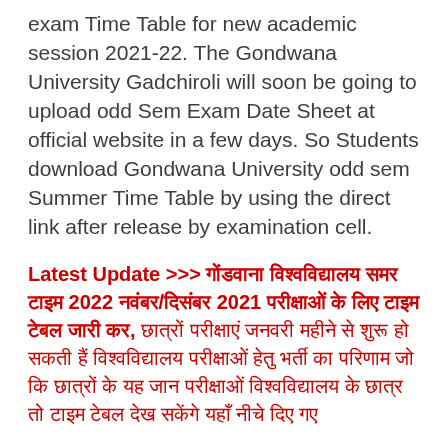exam Time Table for new academic session 2021-22. The Gondwana University Gadchiroli will soon be going to upload odd Sem Exam Date Sheet at official website in a few days. So Students download Gondwana University odd sem Summer Time Table by using the direct link after release by examination cell.
Latest Update >>> गोंडवाना विश्वविद्यालय समर टाइम 2022 नवंबर/दिसंबर 2021 परीक्षाओं के लिए टाइम टेबल जारी कर, छात्रों परीक्षाएं जनवरी महीने से शुरू हो सकती हैं विश्वविद्यालय परीक्षाओं हेतु भर्ती का परिणाम जो कि छात्रों के यह जान परीक्षाओं विश्वविद्यालय के छात्र तो टाइम टेबल देख सकेंगे यहाँ नीचे दिए गए